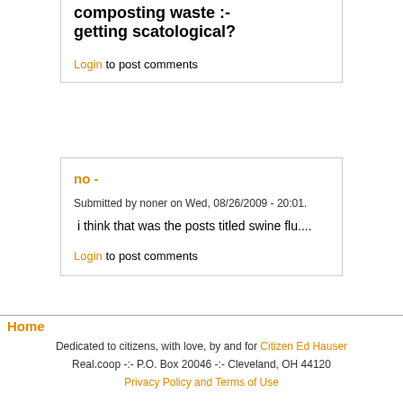composting waste :- getting scatological?
Login to post comments
no -
Submitted by noner on Wed, 08/26/2009 - 20:01.
i think that was the posts titled swine flu....
Login to post comments
Home
Dedicated to citizens, with love, by and for Citizen Ed Hauser
Real.coop -:- P.O. Box 20046 -:- Cleveland, OH 44120
Privacy Policy and Terms of Use